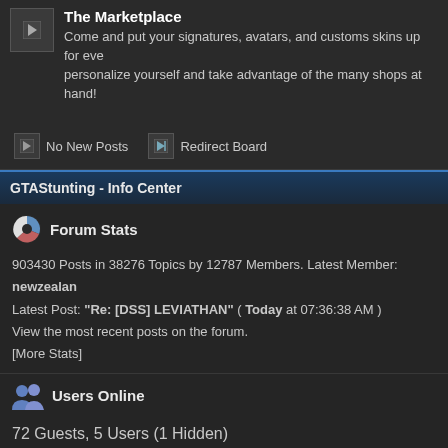The Marketplace
Come and put your signatures, avatars, and customs skins up for everyone to see! Come personalize yourself and take advantage of the many shops at hand!
No New Posts   Redirect Board
GTAStunting - Info Center
Forum Stats
903430 Posts in 38276 Topics by 12787 Members. Latest Member: newzealan
Latest Post: "Re: [DSS] LEVIATHAN" ( Today at 07:36:38 AM )
View the most recent posts on the forum.
[More Stats]
Users Online
72 Guests, 5 Users (1 Hidden)
Users active in past 15 minutes:
Turok, disciplo, Caio, Avi
Most Online Today: 100. Most Online Ever: 1133 (November 06, 2020, 07:33:27 AM)